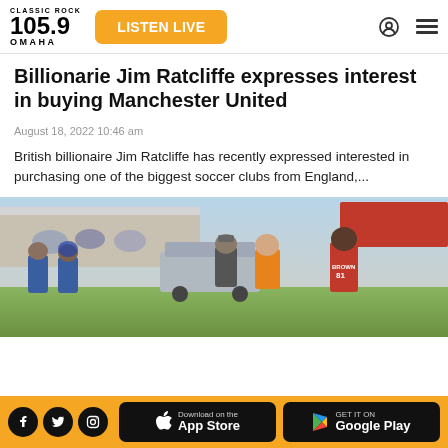Classic Rock 105.9 Omaha — LISTEN LIVE
Billionarie Jim Ratcliffe expresses interest in buying Manchester United
August 18, 2022 10:46 am
British billionaire Jim Ratcliffe has recently expressed interested in purchasing one of the biggest soccer clubs from England,...
[Figure (photo): Photo of people on a football sideline, including a player with jersey reading BROWN 81]
Download on the App Store | GET IT ON Google Play | Social media links: Facebook, Twitter, Instagram